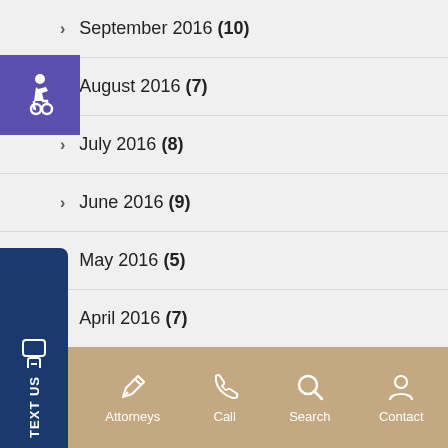September 2016 (10)
August 2016 (7)
July 2016 (8)
June 2016 (9)
May 2016 (5)
April 2016 (7)
March 2016 (7)
Menu  Attorneys  Call  Search  Contact